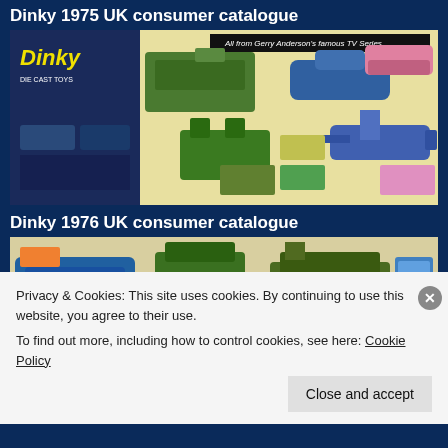Dinky 1975 UK consumer catalogue
[Figure (photo): Dinky 1975 UK consumer catalogue cover image showing die cast toy vehicles including tanks, spacecraft, cars and aircraft with the Dinky Die Cast Toys logo, and 'All from Gerry Anderson's famous TV Series' banner.]
Dinky 1976 UK consumer catalogue
[Figure (photo): Dinky 1976 UK consumer catalogue partial image showing toy military vehicles and spacecraft including tanks and rockets.]
Privacy & Cookies: This site uses cookies. By continuing to use this website, you agree to their use.
To find out more, including how to control cookies, see here: Cookie Policy
Close and accept